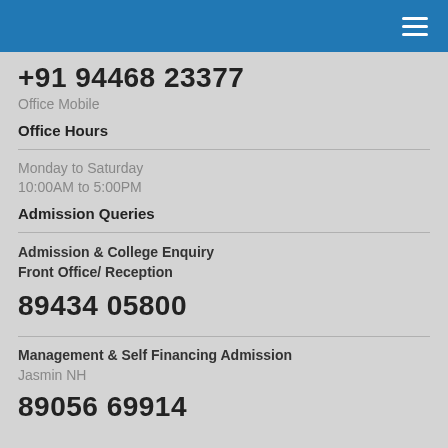+91 94468 23377
Office Mobile
Office Hours
Monday to Saturday
10:00AM to 5:00PM
Admission Queries
Admission & College Enquiry
Front Office/ Reception
89434 05800
Management & Self Financing Admission
Jasmin NH
89056 69914